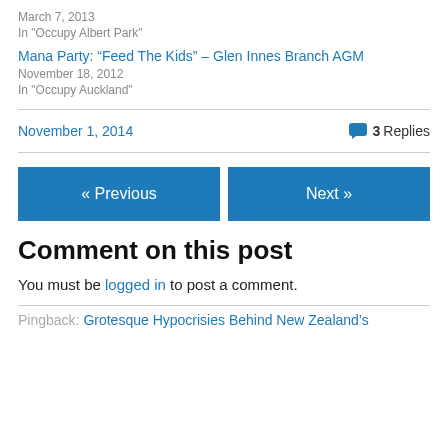March 7, 2013
In "Occupy Albert Park"
Mana Party: “Feed The Kids” – Glen Innes Branch AGM
November 18, 2012
In "Occupy Auckland"
November 1, 2014
3 Replies
« Previous
Next »
Comment on this post
You must be logged in to post a comment.
Pingback: Grotesque Hypocrisies Behind New Zealand’s